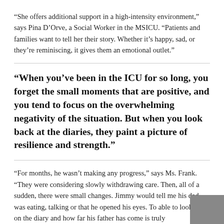“She offers additional support in a high-intensity environment,” says Pina D’Orve, a Social Worker in the MSICU. “Patients and families want to tell her their story. Whether it’s happy, sad, or they’re reminiscing, it gives them an emotional outlet.”
“When you’ve been in the ICU for so long, you forget the small moments that are positive, and you tend to focus on the overwhelming negativity of the situation. But when you look back at the diaries, they paint a picture of resilience and strength.”
“For months, he wasn’t making any progress,” says Ms. Frank. “They were considering slowly withdrawing care. Then, all of a sudden, there were small changes. Jimmy would tell me his dad was eating, talking or that he opened his eyes. To able to look back on the diary and how far his father has come is truly incredible.”